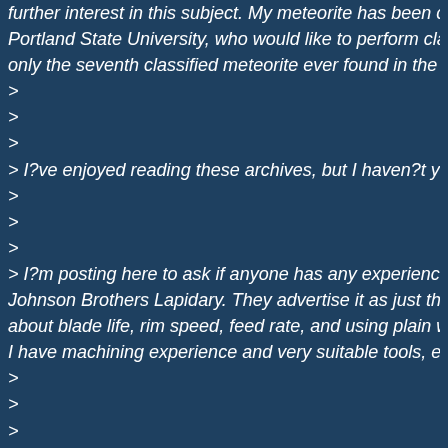further interest in this subject. My meteorite has been conf Portland State University, who would like to perform classi only the seventh classified meteorite ever found in the stat
>
>
>
> I?ve enjoyed reading these archives, but I haven?t yet b
>
>
>
> I?m posting here to ask if anyone has any experience cu Johnson Brothers Lapidary. They advertise it as just the th about blade life, rim speed, feed rate, and using plain wate I have machining experience and very suitable tools, exce
>
>
>
> I welcome replies here on the forum, or by private email.
>
>
>
> Kind regards,